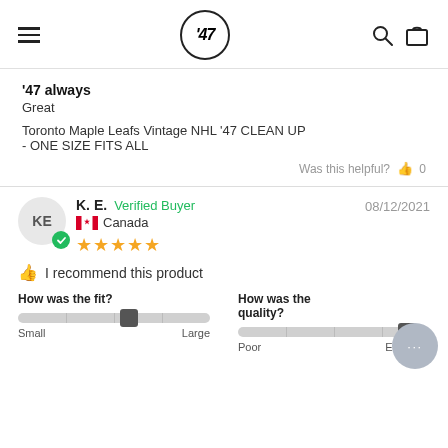[Figure (logo): '47 brand logo in circle, hamburger menu, search and bag icons]
’47 always
Great
Toronto Maple Leafs Vintage NHL ’47 CLEAN UP
- ONE SIZE FITS ALL
Was this helpful?  👍  0
K. E.  Verified Buyer
🇨🇦 Canada
★★★★★
08/12/2021
👍 I recommend this product
How was the fit?
Small — Large (slider mid-right)
How was the quality?
Poor — Excellent (slider at right)